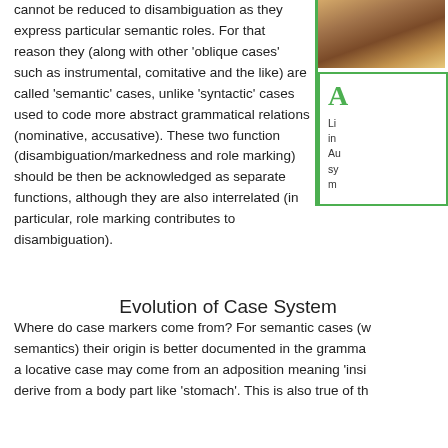cannot be reduced to disambiguation as they express particular semantic roles. For that reason they (along with other 'oblique cases' such as instrumental, comitative and the like) are called 'semantic' cases, unlike 'syntactic' cases used to code more abstract grammatical relations (nominative, accusative). These two function (disambiguation/markedness and role marking) should be then be acknowledged as separate functions, although they are also interrelated (in particular, role marking contributes to disambiguation).
[Figure (photo): Partial photo visible in sidebar, top right]
A
Li... in... Au... sy... m...
Evolution of Case System
Where do case markers come from? For semantic cases (w... semantics) their origin is better documented in the gramm... a locative case may come from an adposition meaning 'insi... derive from a body part like 'stomach'. This is also true of th...